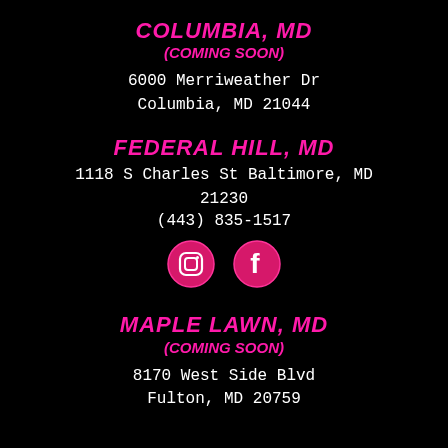COLUMBIA, MD
(COMING SOON)
6000 Merriweather Dr
Columbia, MD 21044
FEDERAL HILL, MD
1118 S Charles St Baltimore, MD
21230
(443) 835-1517
[Figure (illustration): Two circular social media icons on pink/magenta circles: Instagram camera icon and Facebook f icon]
MAPLE LAWN, MD
(COMING SOON)
8170 West Side Blvd
Fulton, MD 20759